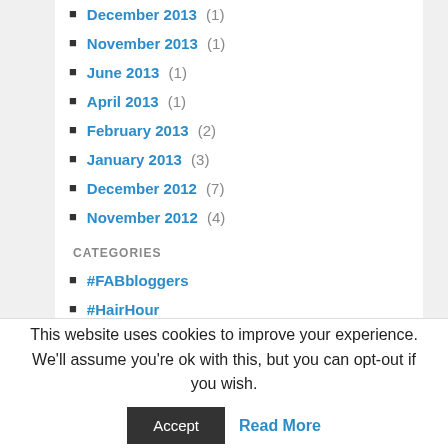December 2013 (1)
November 2013 (1)
June 2013 (1)
April 2013 (1)
February 2013 (2)
January 2013 (3)
December 2012 (7)
November 2012 (4)
CATEGORIES
#FABbloggers
#HairHour
#HairTips101
#LFW
#PutChildrenFirst
#SalonHour
This website uses cookies to improve your experience. We'll assume you're ok with this, but you can opt-out if you wish.
Accept | Read More